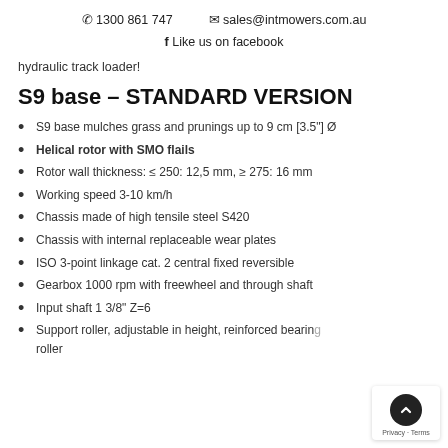📞 1300 861 747   ✉ sales@intmowers.com.au
 f Like us on facebook
hydraulic track loader!
S9 base – STANDARD VERSION
S9 base mulches grass and prunings up to 9 cm [3.5"] Ø
Helical rotor with SMO flails
Rotor wall thickness: ≤ 250: 12,5 mm, ≥ 275: 16 mm
Working speed 3-10 km/h
Chassis made of high tensile steel S420
Chassis with internal replaceable wear plates
ISO 3-point linkage cat. 2 central fixed reversible
Gearbox 1000 rpm with freewheel and through shaft
Input shaft 1 3/8" Z=6
Support roller, adjustable in height, reinforced bearing roller